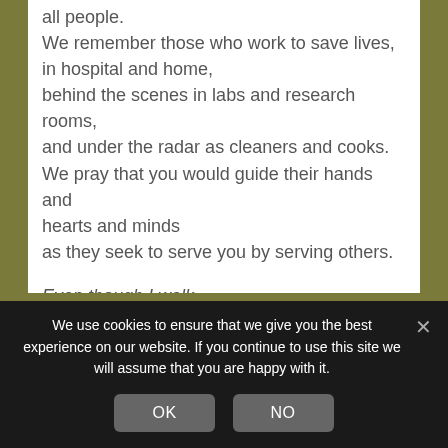all people. We remember those who work to save lives, in hospital and home, behind the scenes in labs and research rooms, and under the radar as cleaners and cooks. We pray that you would guide their hands and hearts and minds as they seek to serve you by serving others.
Even though I walk
    through the darkest valley,
I will fear no evil,
    for you are with me;
your rod and your staff,
    they comfort me.
We use cookies to ensure that we give you the best experience on our website. If you continue to use this site we will assume that you are happy with it.